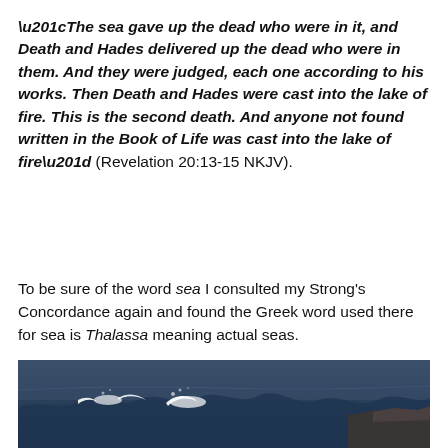“The sea gave up the dead who were in it, and Death and Hades delivered up the dead who were in them. And they were judged, each one according to his works. Then Death and Hades were cast into the lake of fire. This is the second death. And anyone not found written in the Book of Life was cast into the lake of fire” (Revelation 20:13-15 NKJV).
To be sure of the word sea I consulted my Strong’s Concordance again and found the Greek word used there for sea is Thalassa meaning actual seas.
[Figure (photo): Ocean waves crashing against rocky shoreline, dark blue stormy sea with white sea foam and spray, rocky coast visible on the right side.]